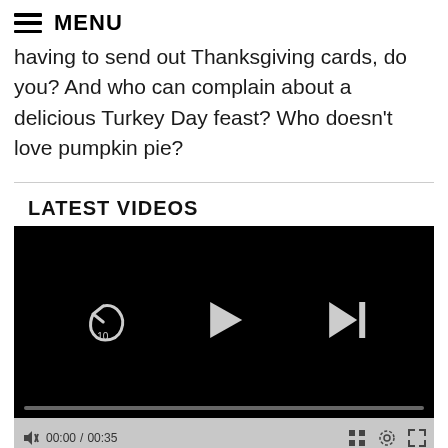MENU
having to send out Thanksgiving cards, do you? And who can complain about a delicious Turkey Day feast? Who doesn’t love pumpkin pie?
LATEST VIDEOS
[Figure (screenshot): Video player with black background showing playback controls: replay-10-seconds button, play button (triangle), and skip-to-next button. A progress bar is visible at the bottom of the player. Below the player is a control bar showing mute icon, 00:00 / 00:35 timestamp, grid icon, settings gear icon, and fullscreen icon.]